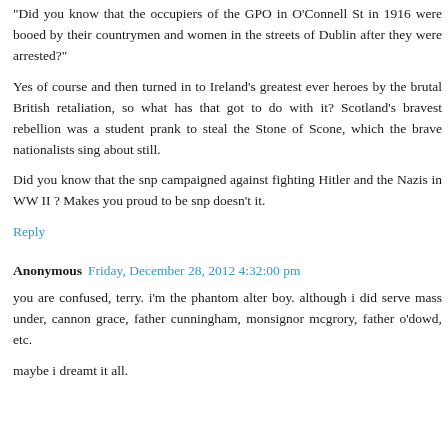"Did you know that the occupiers of the GPO in O'Connell St in 1916 were booed by their countrymen and women in the streets of Dublin after they were arrested?"
Yes of course and then turned in to Ireland's greatest ever heroes by the brutal British retaliation, so what has that got to do with it? Scotland's bravest rebellion was a student prank to steal the Stone of Scone, which the brave nationalists sing about still.
Did you know that the snp campaigned against fighting Hitler and the Nazis in WW II ? Makes you proud to be snp doesn't it.
Reply
Anonymous  Friday, December 28, 2012 4:32:00 pm
you are confused, terry. i'm the phantom alter boy. although i did serve mass under, cannon grace, father cunningham, monsignor mcgrory, father o'dowd, etc.
maybe i dreamt it all.